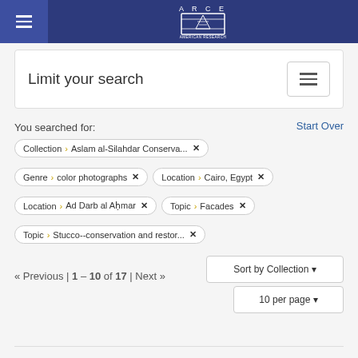ARCE — American Research Center in Egypt
Limit your search
You searched for:
Start Over
Collection › Aslam al-Silahdar Conserva...  ✕
Genre › color photographs  ✕   Location › Cairo, Egypt  ✕
Location › Ad Darb al Aḥmar  ✕   Topic › Facades  ✕
Topic › Stucco--conservation and restor...  ✕
« Previous | 1 – 10 of 17  | Next »
Sort by Collection ▾
10 per page ▾